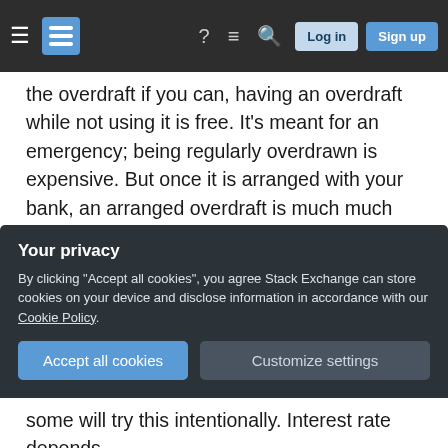[Stack Exchange navigation bar with hamburger menu, logo, help, chat, search icons, Log in and Sign up buttons]
the overdraft if you can, having an overdraft while not using it is free. It's meant for an emergency; being regularly overdrawn is expensive. But once it is arranged with your bank, an arranged overdraft is much much cheaper than bouncing cheques etc. and possibly high fees for overdrawing your account. And it takes the pressure of you.
Now things to need before you get a loan (again, UK): The real interest rate that you are paying is called APR. That's the number that counts, and that
Your privacy
By clicking "Accept all cookies", you agree Stack Exchange can store cookies on your device and disclose information in accordance with our Cookie Policy.
some will try this intentionally. Interest rate depends